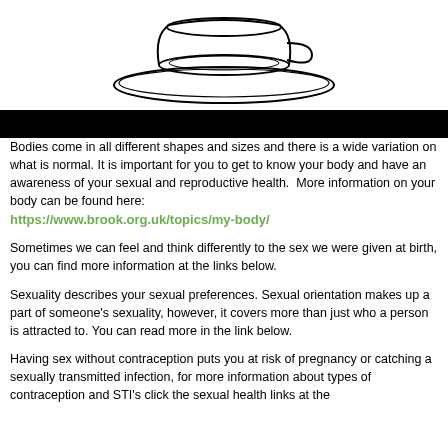[Figure (illustration): Line drawing of a tea cup on a saucer, viewed from above slightly, black outline on white background]
Bodies come in all different shapes and sizes and there is a wide variation on what is normal. It is important for you to get to know your body and have an awareness of your sexual and reproductive health.  More information on your body can be found here:
https://www.brook.org.uk/topics/my-body/
Sometimes we can feel and think differently to the sex we were given at birth, you can find more information at the links below.
Sexuality describes your sexual preferences. Sexual orientation makes up a part of someone's sexuality, however, it covers more than just who a person is attracted to. You can read more in the link below.
Having sex without contraception puts you at risk of pregnancy or catching a sexually transmitted infection, for more information about types of contraception and STI's click the sexual health links at the